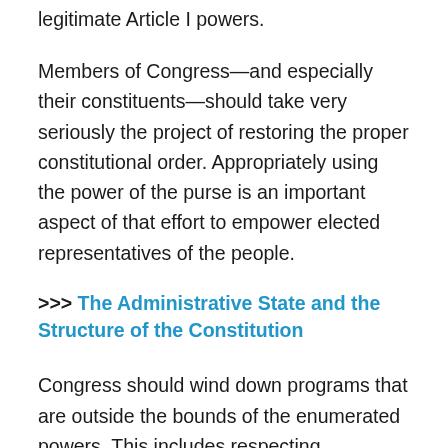legitimate Article I powers.
Members of Congress—and especially their constituents—should take very seriously the project of restoring the proper constitutional order. Appropriately using the power of the purse is an important aspect of that effort to empower elected representatives of the people.
>>> The Administrative State and the Structure of the Constitution
Congress should wind down programs that are outside the bounds of the enumerated powers. This includes respecting federalism and the Tenth Amendment by allowing issues more appropriately handled by the private sector or at the state and local level to be done so.